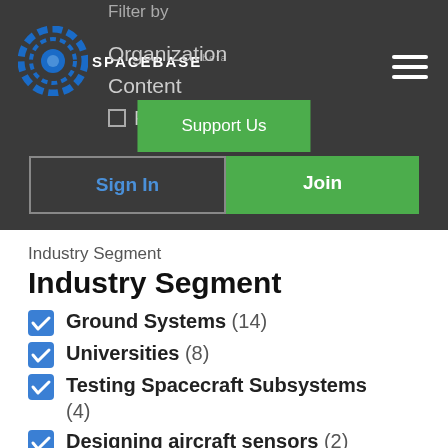Filter by
[Figure (logo): Spacebase logo: circular blue gear/dot icon with SPACEBASE text and beta label]
Organization
Content
People
Support Us
Sign In
Join
Industry Segment
Industry Segment
Ground Systems (14)
Universities (8)
Testing Spacecraft Subsystems (4)
Designing aircraft sensors (2)